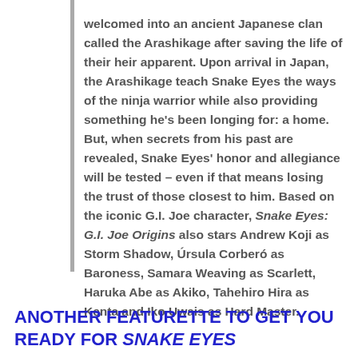welcomed into an ancient Japanese clan called the Arashikage after saving the life of their heir apparent. Upon arrival in Japan, the Arashikage teach Snake Eyes the ways of the ninja warrior while also providing something he's been longing for: a home. But, when secrets from his past are revealed, Snake Eyes' honor and allegiance will be tested – even if that means losing the trust of those closest to him. Based on the iconic G.I. Joe character, Snake Eyes: G.I. Joe Origins also stars Andrew Koji as Storm Shadow, Úrsula Corberó as Baroness, Samara Weaving as Scarlett, Haruka Abe as Akiko, Tahehiro Hira as Kenta and Iko Uwais as Hard Master.
ANOTHER FEATURETTE TO GET YOU READY FOR SNAKE EYES